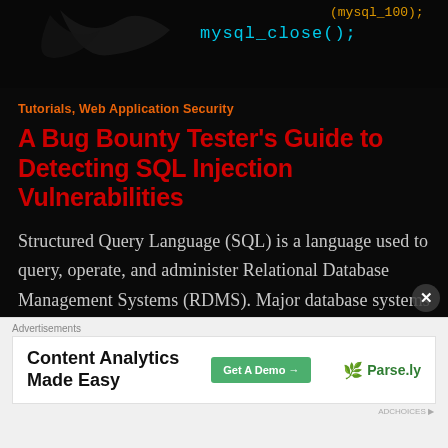[Figure (screenshot): Dark hero image showing code text 'mysql_close();' in cyan monospace font on black background, with a bird silhouette overlay]
Tutorials, Web Application Security
A Bug Bounty Tester's Guide to Detecting SQL Injection Vulnerabilities
Structured Query Language (SQL) is a language used to query, operate, and administer Relational Database Management Systems (RDMS). Major database systems that use SQL include MySQL, PostgreSQL, SQL Server, DB2, and Oracle. Since database systems are commonly used in modern web applications to store user-supplied data, these
[Figure (screenshot): Advertisement banner: 'Content Analytics Made Easy' with Parse.ly logo and 'Get A Demo' button]